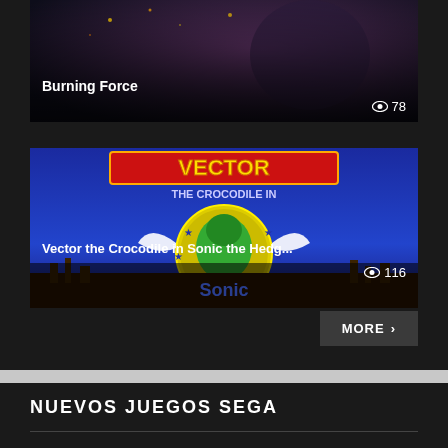[Figure (screenshot): Burning Force game thumbnail showing anime-style action characters with dark background]
Burning Force
👁 78
[Figure (screenshot): Vector the Crocodile in Sonic the Hedgehog game thumbnail showing Vector character on blue background with game title art]
Vector the Crocodile in Sonic the Hedg...
👁 116
MORE ›
NUEVOS JUEGOS SEGA